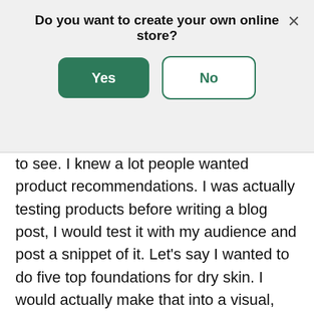Do you want to create your own online store?
Yes
No
to see. I knew a lot people wanted product recommendations. I was actually testing products before writing a blog post, I would test it with my audience and post a snippet of it. Let's say I wanted to do five top foundations for dry skin. I would actually make that into a visual, put it in my community Instagram page, see how many people respond to it. And then, I would write the article about it, versus if I put another post about hyperpigmentation next to that one, if a lot of people didn't comment, then I would not write the story on that.